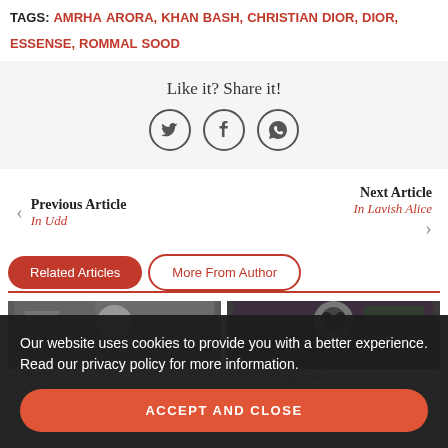TAGS: AMRHA ARORA, KHAN BASH, CHRISTIAN DIOR, DIOR, ESSENSE, ROMMAL SOOD
Like it? Share it!
[Figure (infographic): Social share icons: Twitter bird, Facebook F, and WhatsApp phone icon in circular outlines]
Previous Article
In Udd
Next Article
In Lavish Alice
Related Articles | More From Author
[Figure (photo): Two article thumbnail photos showing women. Left: woman with long dark hair. Right: woman wearing sunglasses.]
In Shehlaa | In Ulyana Sergeenko
Our website uses cookies to provide you with a better experience. Read our privacy policy for more information.
ACCEPT AND CLOSE